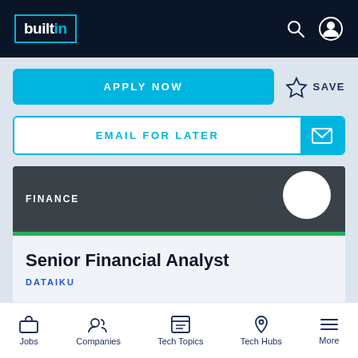builtin
APPLY NOW
SAVE
EMAIL FOR LATER
FINANCE
Senior Financial Analyst
DATAIKU
NEW YORK CITY, NY
Jobs  Companies  Tech Topics  Tech Hubs  More